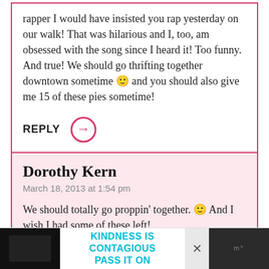rapper I would have insisted you rap yesterday on our walk! That was hilarious and I, too, am obsessed with the song since I heard it! Too funny. And true! We should go thrifting together downtown sometime 🙂 and you should also give me 15 of these pies sometime!
REPLY →
Dorothy Kern
March 18, 2013 at 1:54 pm
We should totally go proppin' together. 🙂 And I wish I had some of these left!
REPLY →
KINDNESS IS CONTAGIOUS PASS IT ON